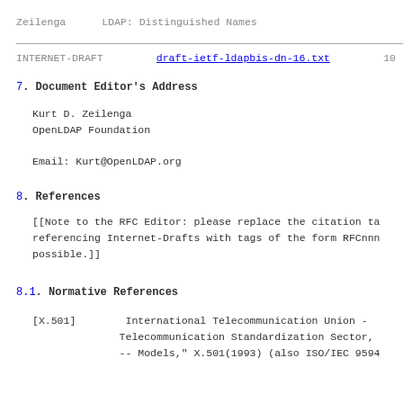Zeilenga                    LDAP: Distinguished Names
INTERNET-DRAFT              draft-ietf-ldapbis-dn-16.txt       10
7. Document Editor's Address
Kurt D. Zeilenga
OpenLDAP Foundation

Email: Kurt@OpenLDAP.org
8. References
[[Note to the RFC Editor: please replace the citation ta
referencing Internet-Drafts with tags of the form RFCnnn
possible.]]
8.1. Normative References
[X.501]       International Telecommunication Union -
              Telecommunication Standardization Sector,
              -- Models," X.501(1993) (also ISO/IEC 9594